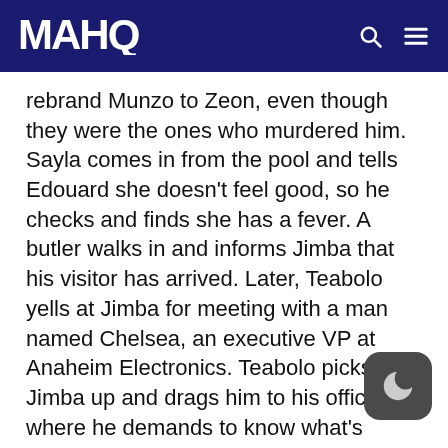MAHQ
rebrand Munzo to Zeon, even though they were the ones who murdered him. Sayla comes in from the pool and tells Edouard she doesn't feel good, so he checks and finds she has a fever. A butler walks in and informs Jimba that his visitor has arrived. Later, Teabolo yells at Jimba for meeting with a man named Chelsea, an executive VP at Anaheim Electronics. Teabolo picks Jimba up and drags him to his office, where he demands to know what's happening. He assumes that Jimba wants to organize armed resistance against Side 3, which he says won't work, but Jimba counters that there's no way to know until they try. Jimba notes that Anaheim has offered funding, weapons and lo of key Federation officials, plus they have the Brit... while on their side. Teab... is b...